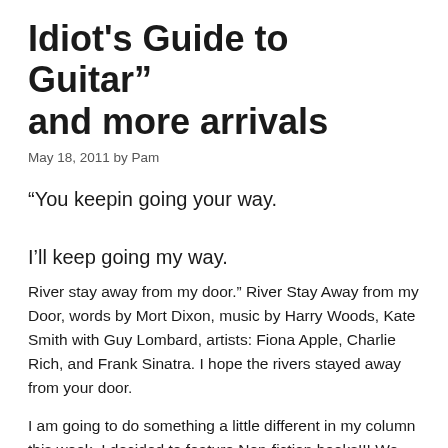Idiot's Guide to Guitar" and more arrivals
May 18, 2011 by Pam
“You keepin going your way.

I’ll keep going my way.
River stay away from my door.” River Stay Away from my Door, words by Mort Dixon, music by Harry Woods, Kate Smith with Guy Lombard, artists: Fiona Apple, Charlie Rich, and Frank Sinatra. I hope the rivers stayed away from your door.
I am going to do something a little different in my column this week. I decided to feature Non-fiction books!!! We have so many great Non-fiction books to read and lots of them go un-noticed. Don’t sigh, I’ll